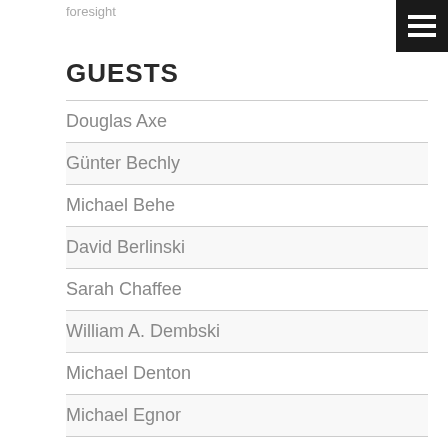foresight
GUESTS
Douglas Axe
Günter Bechly
Michael Behe
David Berlinski
Sarah Chaffee
William A. Dembski
Michael Denton
Michael Egnor